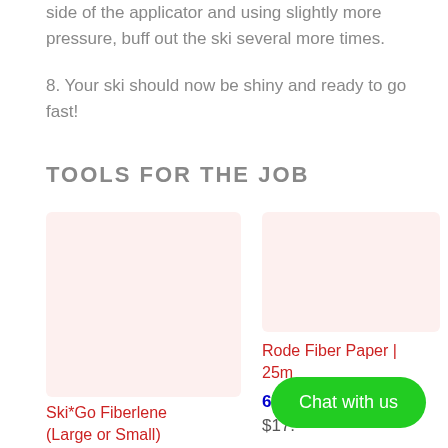side of the applicator and using slightly more pressure, buff out the ski several more times.
8. Your ski should now be shiny and ready to go fast!
TOOLS FOR THE JOB
[Figure (photo): Product image placeholder for Ski*Go Fiberlene (Large or Small) — pink/light red background rectangle]
Ski*Go Fiberlene (Large or Small)
[Figure (photo): Product image placeholder for Rode Fiber Paper 25m — pink/light red background rectangle]
Rode Fiber Paper | 25m
67 In stock!
$17.
Chat with us